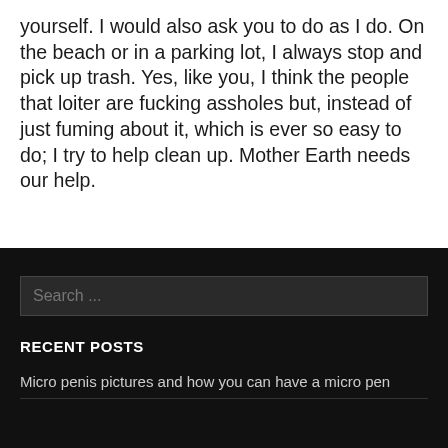yourself. I would also ask you to do as I do. On the beach or in a parking lot, I always stop and pick up trash. Yes, like you, I think the people that loiter are fucking assholes but, instead of just fuming about it, which is ever so easy to do; I try to help clean up. Mother Earth needs our help.
Search ...
RECENT POSTS
Micro penis pictures and how you can have a micro pen